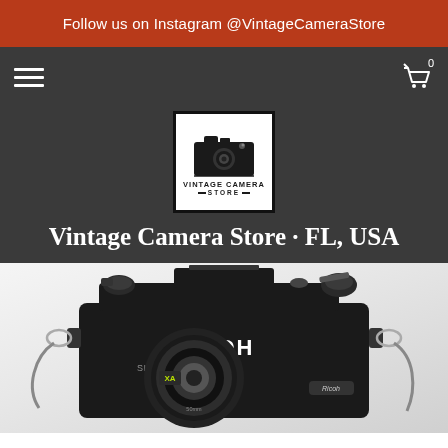Follow us on Instagram @VintageCameraStore
[Figure (logo): Vintage Camera Store logo with camera illustration and text 'VINTAGE CAMERA STORE']
Vintage Camera Store · FL, USA
[Figure (photo): Photo of a black Ricoh Singlex TL5 35mm SLR film camera with a 50mm lens and camera strap, on a light grey/white background]